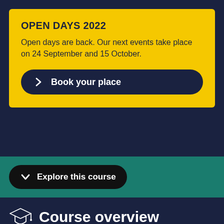OPEN DAYS 2022
Open days are back. Our next events take place on 24 September and 15 October.
Book your place
Explore this course
Course overview
Studying Ancient History provides you with an understanding of the political, military...